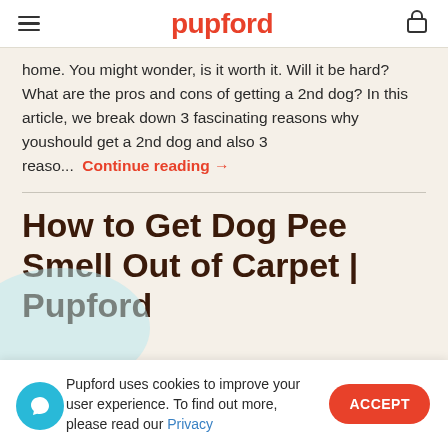pupford
home. You might wonder, is it worth it. Will it be hard? What are the pros and cons of getting a 2nd dog? In this article, we break down 3 fascinating reasons why you should get a 2nd dog and also 3 reaso... Continue reading →
How to Get Dog Pee Smell Out of Carpet | Pupford
Pupford uses cookies to improve your user experience. To find out more please read our Privacy